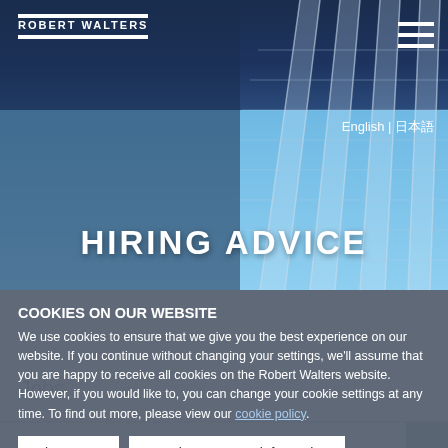ROBERT WALTERS
HIRING ADVICE
Jobs
All locations
COOKIES ON OUR WEBSITE
We use cookies to ensure that we give you the best experience on our website. If you continue without changing your settings, we'll assume that you are happy to receive all cookies on the Robert Walters website. However, if you would like to, you can change your cookie settings at any time. To find out more, please view our cookie policy.
Ok, I agree
No, give me more information